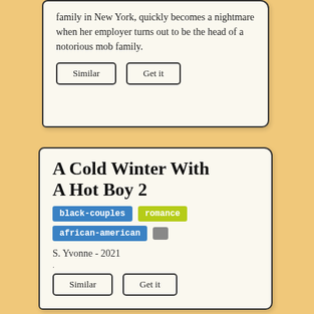family in New York, quickly becomes a nightmare when her employer turns out to be the head of a notorious mob family.
Similar   Get it
A Cold Winter With A Hot Boy 2
black-couples   romance   african-american
S. Yvonne - 2021
Similar   Get it